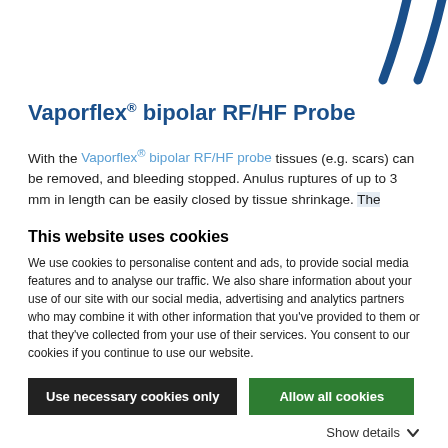[Figure (illustration): Decorative blue curved lines in top-right corner, partial view of a logo or design element]
Vaporflex® bipolar RF/HF Probe
With the Vaporflex® bipolar RF/HF probe tissues (e.g. scars) can be removed, and bleeding stopped. Anulus ruptures of up to 3 mm in length can be easily closed by tissue shrinkage. The ergonomic handles are reusable and are used with the
This website uses cookies
We use cookies to personalise content and ads, to provide social media features and to analyse our traffic. We also share information about your use of our site with our social media, advertising and analytics partners who may combine it with other information that you've provided to them or that they've collected from your use of their services. You consent to our cookies if you continue to use our website.
Use necessary cookies only
Allow all cookies
Show details